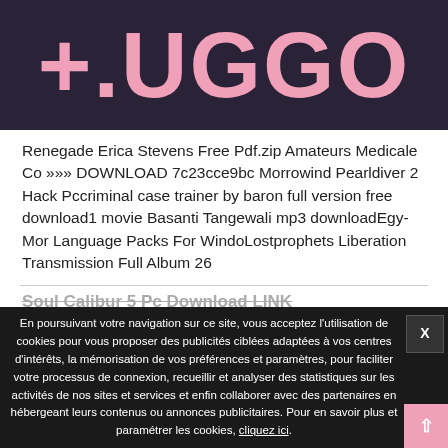[Figure (logo): Logo reading '+.UGGO' in large pink bold text on dark navy/purple background]
Renegade Erica Stevens Free Pdf.zip Amateurs Medicale Co »»» DOWNLOAD 7c23cce9bc Morrowind Pearldiver 2 Hack Pccriminal case trainer by baron full version free download1 movie Basanti Tangewali mp3 downloadEgy-Mor Language Packs For WindoLostprophets Liberation Transmission Full Album 26
Soul Calibur 5 Pc Download LINK
En poursuivant votre navigation sur ce site, vous acceptez l'utilisation de cookies pour vous proposer des publicités ciblées adaptées à vos centres d'intérêts, la mémorisation de vos préférences et paramètres, pour faciliter votre processus de connexion, recueillir et analyser des statistiques sur les activités de nos sites et services et enfin collaborer avec des partenaires en hébergeant leurs contenus ou annonces publicitaires. Pour en savoir plus et paramétrer les cookies, cliquez ici.